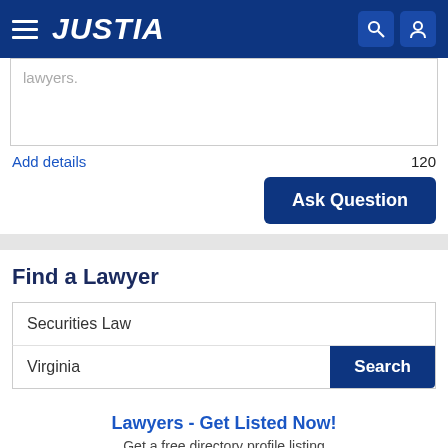JUSTIA
lawyers.
Add details
120
Ask Question
Find a Lawyer
Securities Law
Virginia
Search
Lawyers - Get Listed Now!
Get a free directory profile listing